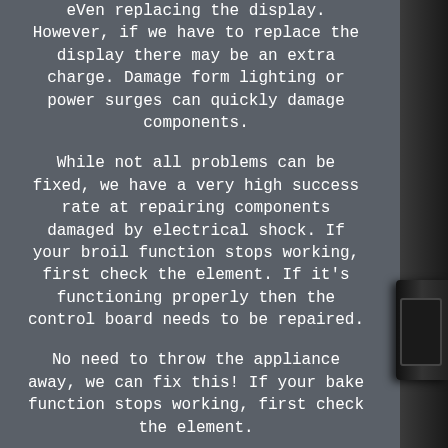eVen replacing the display. However, if we have to replace the display there may be an extra charge. Damage form lighting or power surges can quickly damage components.
While not all problems can be fixed, we have a very high success rate at repairing components damaged by electrical shock. If your broil function stops working, first check the element. If it's functioning properly then the control board needs to be repaired.
No need to throw the appliance away, we can fix this! If your bake function stops working, first check the element.
If your convection function stops working, first check the element and/or fan. If your clean function